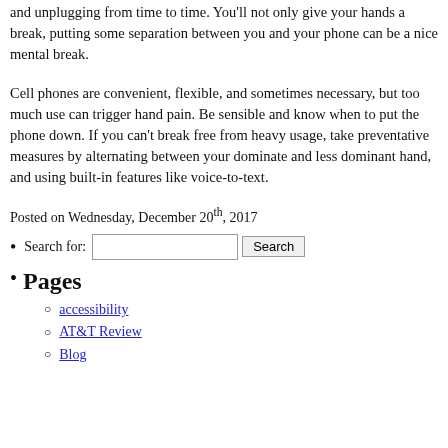and unplugging from time to time. You'll not only give your hands a break, putting some separation between you and your phone can be a nice mental break.
Cell phones are convenient, flexible, and sometimes necessary, but too much use can trigger hand pain. Be sensible and know when to put the phone down. If you can't break free from heavy usage, take preventative measures by alternating between your dominate and less dominant hand, and using built-in features like voice-to-text.
Posted on Wednesday, December 20th, 2017
Search for: [input] Search
Pages
accessibility
AT&T Review
Blog